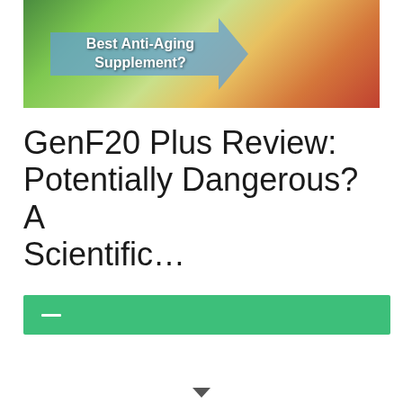[Figure (illustration): Banner image showing colorful seasonal trees (green, orange, red) on grass with a blue arrow sign reading 'Best Anti-Aging Supplement?']
GenF20 Plus Review: Potentially Dangerous? A Scientific…
—